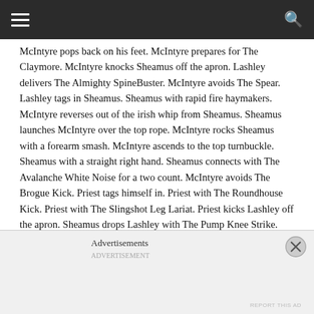[navigation header with hamburger menu and search icon]
McIntyre pops back on his feet. McIntyre prepares for The Claymore. McIntyre knocks Sheamus off the apron. Lashley delivers The Almighty SpineBuster. McIntyre avoids The Spear. Lashley tags in Sheamus. Sheamus with rapid fire haymakers. McIntyre reverses out of the irish whip from Sheamus. Sheamus launches McIntyre over the top rope. McIntyre rocks Sheamus with a forearm smash. McIntyre ascends to the top turnbuckle. Sheamus with a straight right hand. Sheamus connects with The Avalanche White Noise for a two count. McIntyre avoids The Brogue Kick. Priest tags himself in. Priest with The Roundhouse Kick. Priest with The Slingshot Leg Lariat. Priest kicks Lashley off the apron. Sheamus drops Lashley with The Pump Knee Strike. Lashley starts walking to the backstage area. Priest tags in McIntyre. McIntyre plants Sheamus with The Claymore to pickup the
Advertisements